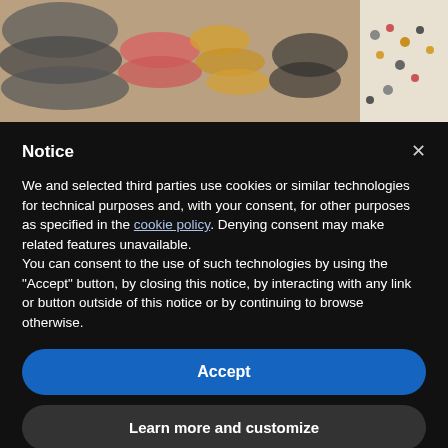[Figure (photo): Top portion of a decorative mosaic or beaded artwork with colorful round beads arranged in patterns — gray, red/pink, yellow/gold colors visible — with some loose beads scattered on white surface at right.]
Notice
We and selected third parties use cookies or similar technologies for technical purposes and, with your consent, for other purposes as specified in the cookie policy. Denying consent may make related features unavailable.
You can consent to the use of such technologies by using the "Accept" button, by closing this notice, by interacting with any link or button outside of this notice or by continuing to browse otherwise.
Accept
Learn more and customize